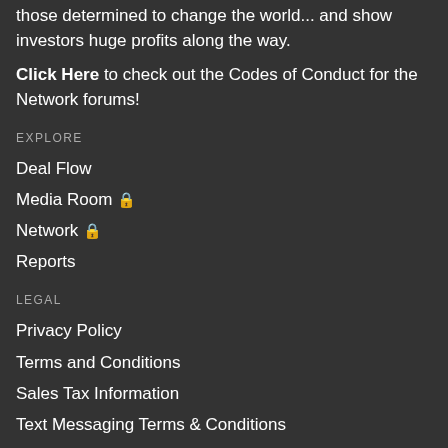those determined to change the world... and show investors huge profits along the way.
Click Here to check out the Codes of Conduct for the Network forums!
EXPLORE
Deal Flow
Media Room 🔒
Network 🔒
Reports
LEGAL
Privacy Policy
Terms and Conditions
Sales Tax Information
Text Messaging Terms & Conditions